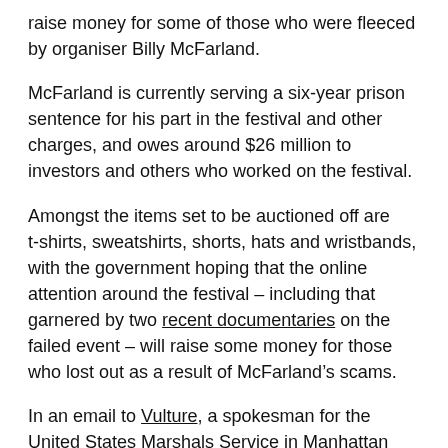raise money for some of those who were fleeced by organiser Billy McFarland.
McFarland is currently serving a six-year prison sentence for his part in the festival and other charges, and owes around $26 million to investors and others who worked on the festival.
Amongst the items set to be auctioned off are t-shirts, sweatshirts, shorts, hats and wristbands, with the government hoping that the online attention around the festival – including that garnered by two recent documentaries on the failed event – will raise some money for those who lost out as a result of McFarland's scams.
In an email to Vulture, a spokesman for the United States Marshals Service in Manhattan said: "We know